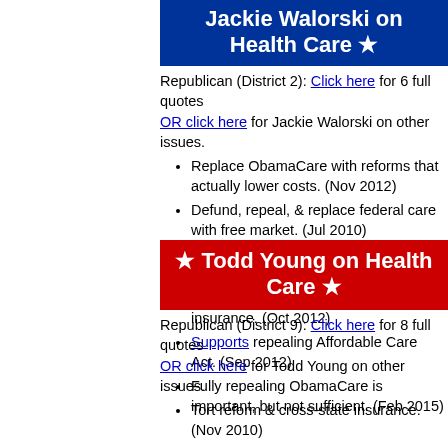Jackie Walorski on Health Care ★
Republican (District 2): Click here for 6 full quotes OR click here for Jackie Walorski on other issues.
Replace ObamaCare with reforms that actually lower costs. (Nov 2012)
Defund, repeal, & replace federal care with free market. (Jul 2010)
Supports repealing ObamaCare. (Oct 2012)
Supports market-based health insurance. (Oct 2012)
Supports repealing Affordable Care Act. (Sep 2012)
Fully repealing ObamaCare is important, but not sufficient. (Feb 2015)
★ Todd Young on Health Care ★
Republican (District 9): Click here for 8 full quotes OR click here for Todd Young on other issues.
Tort reform & cross-state insurance. (Nov 2010)
Voted YES on the Ryan Budget: Medicare choice, tax & spending cuts. (Apr 2011)